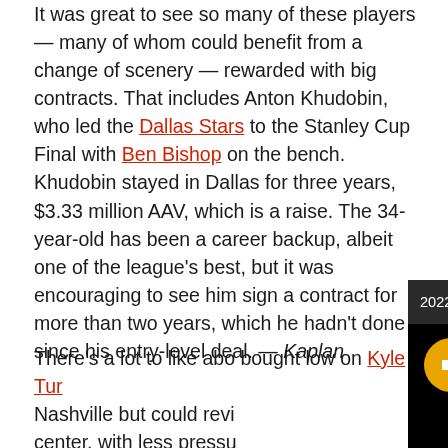It was great to see so many of these players — many of whom could benefit from a change of scenery — rewarded with big contracts. That includes Anton Khudobin, who led the Dallas Stars to the Stanley Cup Final with Ben Bishop on the bench. Khudobin stayed in Dallas for three years, $3.33 million AAV, which is a raise. The 34-year-old has been a career backup, albeit one of the league's best, but it was encouraging to see him sign a contract for more than two years, which he hadn't done since his entry-level deal. — Kaplan
[Figure (screenshot): Video overlay popup showing '2022-2023 OHL Futures Watch - Kitchen...' with a black background, a yellow mute button with speaker-off icon, and a teal loading spinner on dark background.]
There's a lot to like about [text cut off] bought low on Kyle Tur[ris text cut off] Nashville but could revi[text cut off] center, with less pressu[text cut off] and Leon Draisaitl on th[text cut off]